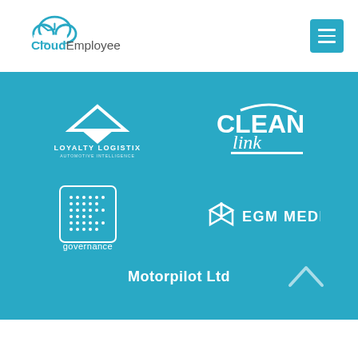[Figure (logo): CloudEmployee logo with cloud icon and text]
[Figure (logo): Loyalty Logistix - Automotive Intelligence logo (white triangle/chevron shape)]
[Figure (logo): CLEANlink logo in white]
[Figure (logo): IC Governance logo in white with dot-grid pattern]
[Figure (logo): EGM Media logo with 3D box icon in white]
Motorpilot Ltd